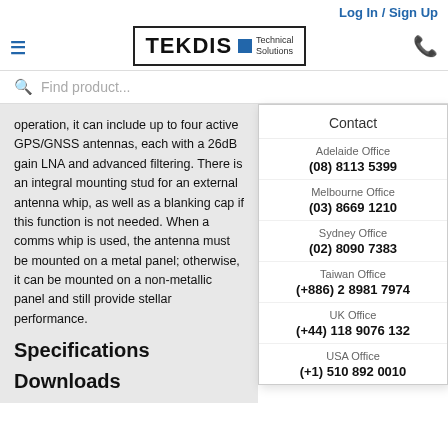Log In / Sign Up
[Figure (logo): TEKDIS Technical Solutions logo in bordered box]
Find product...
operation, it can include up to four active GPS/GNSS antennas, each with a 26dB gain LNA and advanced filtering. There is an integral mounting stud for an external antenna whip, as well as a blanking cap if this function is not needed. When a comms whip is used, the antenna must be mounted on a metal panel; otherwise, it can be mounted on a non-metallic panel and still provide stellar performance.
Specifications
Downloads
Contact
Adelaide Office
(08) 8113 5399
Melbourne Office
(03) 8669 1210
Sydney Office
(02) 8090 7383
Taiwan Office
(+886) 2 8981 7974
UK Office
(+44) 118 9076 132
USA Office
(+1) 510 892 0010